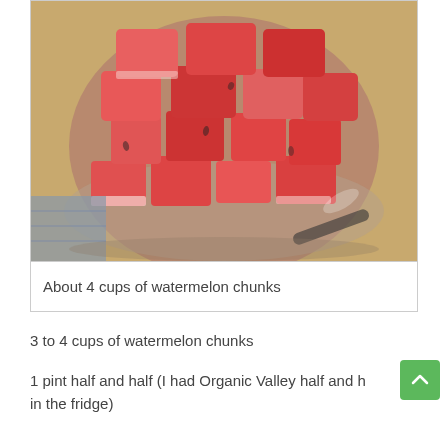[Figure (photo): A glass bowl filled with chunks of fresh red watermelon, viewed from above, sitting on a wooden cutting board.]
About 4 cups of watermelon chunks
3 to 4 cups of watermelon chunks
1 pint half and half (I had Organic Valley half and half in the fridge)